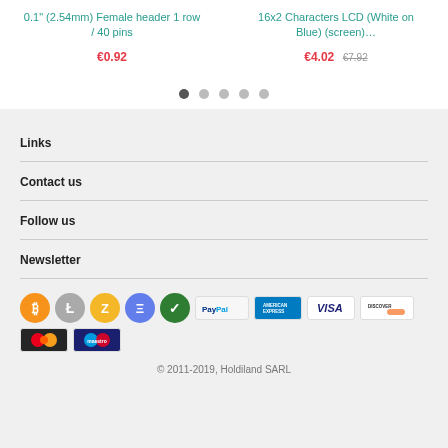0.1" (2.54mm) Female header 1 row / 40 pins
€0.92
16x2 Characters LCD (White on Blue) (screen)…
€4.02 €7.92
Links
Contact us
Follow us
Newsletter
[Figure (logo): Payment method icons: Bitcoin, Litecoin, Zcash, Ethereum, verified check, PayPal, American Express, Visa, Discover, MasterCard, Maestro]
© 2011-2019, Holdiland SARL